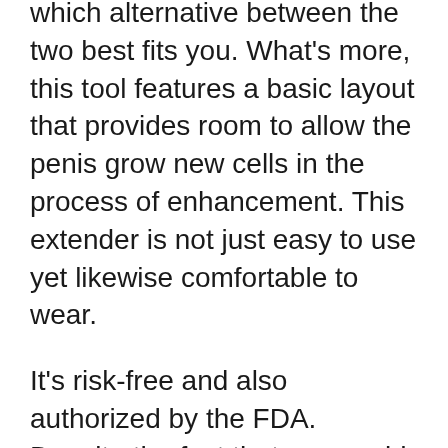which alternative between the two best fits you. What's more, this tool features a basic layout that provides room to allow the penis grow new cells in the process of enhancement. This extender is not just easy to use yet likewise comfortable to wear.
It's risk-free and also authorized by the FDA. Despite the fact that you could feel a little pain at first, you'll really feel no considerable discomfort after a couple of days as you continue to use this medical device.
Having a tiny penis can be such a massive humiliation for several guys. The good news is, there are a number of approaches that can assist enlarge the size of a penis. These consist of using tablets, lotions, surgery, and